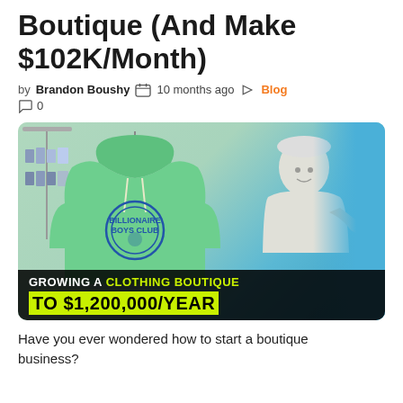Boutique (And Make $102K/Month)
by Brandon Boushy  10 months ago  Blog  0
[Figure (photo): A man in a clothing boutique holding up a green Billionaire Boys Club hoodie on a hanger, smiling and pointing at it. Blue clothing racks visible in background. Black overlay banner reads: GROWING A CLOTHING BOUTIQUE TO $1,200,000/YEAR]
Have you ever wondered how to start a boutique business?